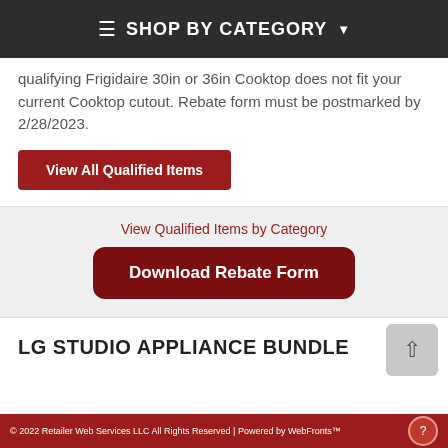≡ SHOP BY CATEGORY ▾
qualifying Frigidaire 30in or 36in Cooktop does not fit your current Cooktop cutout. Rebate form must be postmarked by 2/28/2023.
View All Qualified Items
View Qualified Items by Category
Download Rebate Form
LG STUDIO APPLIANCE BUNDLE
© 2022 Retailer Web Services LLC All Rights Reserved | Powered by WebFronts™